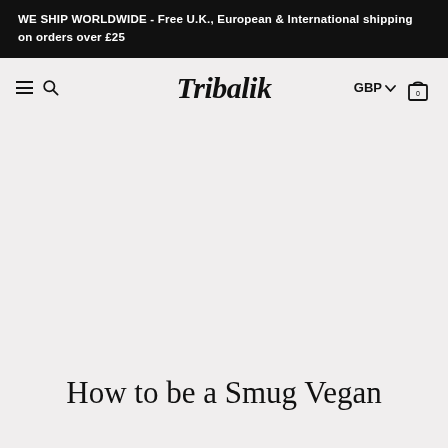WE SHIP WORLDWIDE - Free U.K., European & International shipping on orders over £25
[Figure (logo): Tribalik logo with navigation bar showing hamburger/search icon on left, Tribalik brand name in center, GBP currency selector and cart icon on right]
How to be a Smug Vegan